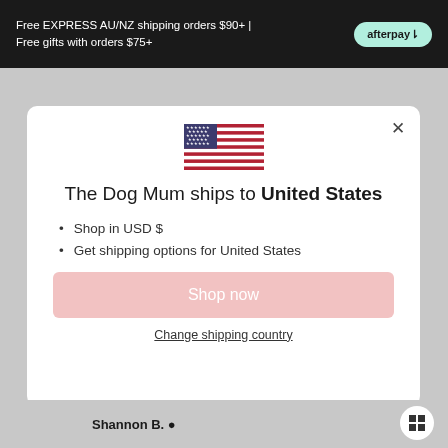Free EXPRESS AU/NZ shipping orders $90+ | Free gifts with orders $75+
[Figure (screenshot): Modal dialog with US flag, shipping destination selector for United States on The Dog Mum e-commerce website]
The Dog Mum ships to United States
Shop in USD $
Get shipping options for United States
Shop now
Change shipping country
Shannon B.